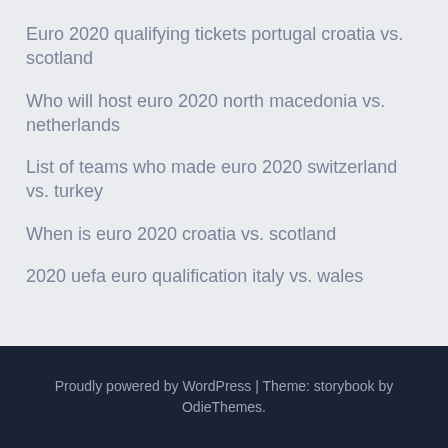Euro 2020 qualifying tickets portugal croatia vs. scotland
Who will host euro 2020 north macedonia vs. netherlands
List of teams who made euro 2020 switzerland vs. turkey
When is euro 2020 croatia vs. scotland
2020 uefa euro qualification italy vs. wales
Proudly powered by WordPress | Theme: storybook by OdieThemes.